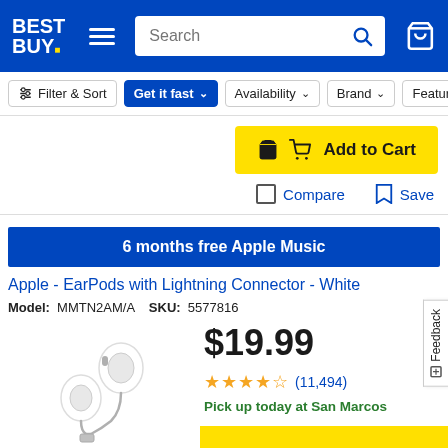[Figure (screenshot): Best Buy website header with logo, hamburger menu, search bar, and cart icon on blue background]
[Figure (screenshot): Filter bar with Filter & Sort, Get it fast (active), Availability, Brand, Feature buttons]
[Figure (screenshot): Add to Cart yellow button with cart icon]
[Figure (screenshot): Compare checkbox and Save bookmark buttons]
6 months free Apple Music
Apple - EarPods with Lightning Connector - White
Model: MMTN2AM/A   SKU: 5577816
[Figure (photo): Apple EarPods with Lightning Connector - White earbuds on white background]
$19.99
★★★★½ (11,494)
Pick up today at San Marcos